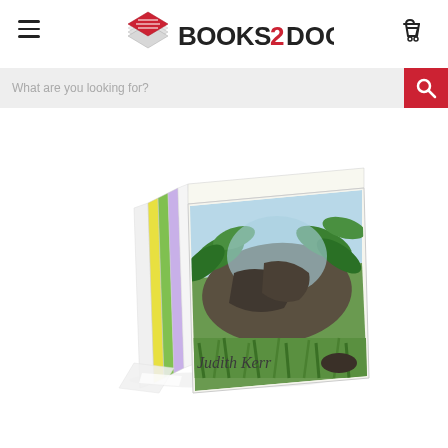Books2Door website header with navigation, logo, and search bar
[Figure (photo): A stacked set of children's books by Judith Kerr, shown at an angle. The top book cover displays illustrated foliage, plants, and what appears to be a large animal (a tiger), with the author name 'Judith Kerr' visible on the cover. The books have colorful spines.]